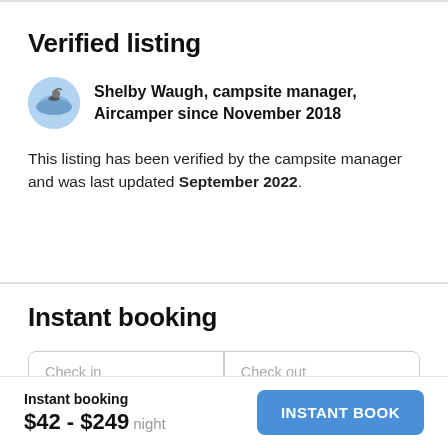Verified listing
Shelby Waugh, campsite manager, Aircamper since November 2018
This listing has been verified by the campsite manager and was last updated September 2022.
Instant booking
Check in
Check out
Instant booking
$42 - $249 night
INSTANT BOOK